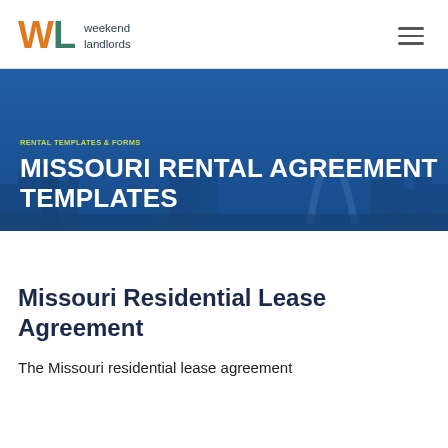weekend landlords
[Figure (screenshot): Website hero banner with St. Louis Gateway Arch city skyline background, blue overlay, breadcrumb 'RENTAL TEMPLATES & FORMS', and heading 'MISSOURI RENTAL AGREEMENT TEMPLATES']
Missouri Residential Lease Agreement
The Missouri residential lease agreement